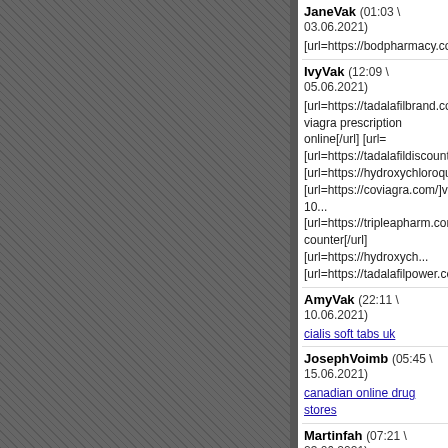JaneVak (01:03 \ 03.06.2021)
[url=https://bodpharmacy.com/]trus...
IvyVak (12:09 \ 05.06.2021)
[url=https://tadalafilbrand.com/]tada... viagra prescription online[/url] [url=... [url=https://tadalafildiscount.com/]b... [url=https://hydroxychloroquinesx.c... [url=https://coviagra.com/]viagra 10... [url=https://tripleapharm.com/]valtr... counter[/url] [url=https://hydroxych... [url=https://tadalafilpower.com/]tada...
AmyVak (22:11 \ 10.06.2021)
cialis soft tabs uk
JosephVoimb (05:45 \ 15.06.2021)
canadian online drug stores
Martinfah (07:21 \ 23.06.2021)
duloxetine hcl dr [url=https://cymba... duloxetine 30 mg cymbalta 60 mg
JaneVak (13:40 \ 24.06.2021)